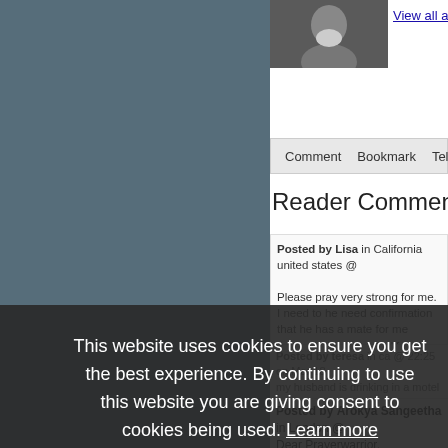[Figure (photo): Author headshot photo, partial view of man with white beard]
View all articles by Tony
[Figure (screenshot): Toolbar with Comment, Bookmark, and Tell icons]
Reader Comments
Posted by Lisa in California united states @
Please pray very strong for me. I need to he need confirmation that he has a mate for me someone to share my life with now. In jesus
Posted by teresa in ca @ 22:25 on Mar 18
my husband is drinking in a motel with wom supernaturally sobe hes not with good people they are ex cons a pray
Posted by Arokya Sangeetha in London @
Dear Prayerwarrior,
This website uses cookies to ensure you get the best experience. By continuing to use this website you are giving consent to cookies being used. Learn more
Got it!